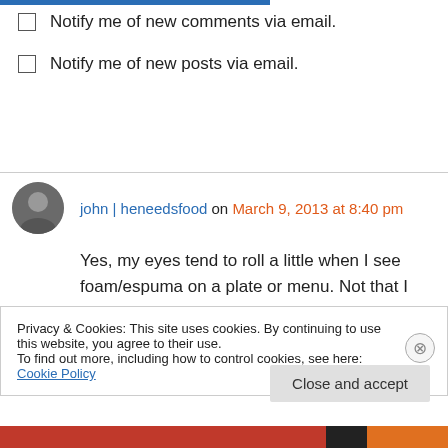Notify me of new comments via email.
Notify me of new posts via email.
john | heneedsfood on March 9, 2013 at 8:40 pm
Yes, my eyes tend to roll a little when I see foam/espuma on a plate or menu. Not that I see it in the photo of the barramundi dish. Maybe it floated away! The sardine dish intrigues me, only
Privacy & Cookies: This site uses cookies. By continuing to use this website, you agree to their use. To find out more, including how to control cookies, see here: Cookie Policy
Close and accept